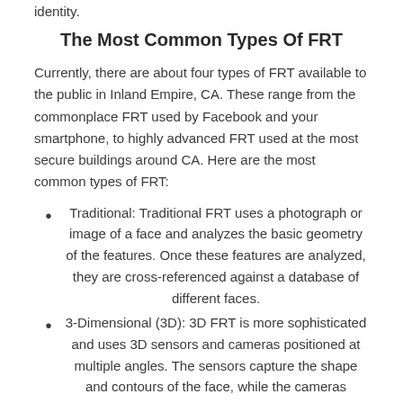identity.
The Most Common Types Of FRT
Currently, there are about four types of FRT available to the public in Inland Empire, CA. These range from the commonplace FRT used by Facebook and your smartphone, to highly advanced FRT used at the most secure buildings around CA. Here are the most common types of FRT:
Traditional: Traditional FRT uses a photograph or image of a face and analyzes the basic geometry of the features. Once these features are analyzed, they are cross-referenced against a database of different faces.
3-Dimensional (3D): 3D FRT is more sophisticated and uses 3D sensors and cameras positioned at multiple angles. The sensors capture the shape and contours of the face, while the cameras capture the traditional FRT data. The traditional FRT data is then overlaid over the 3D sensor data to create a